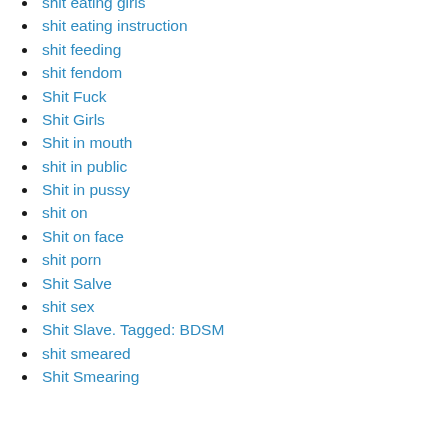shit eating girls
shit eating instruction
shit feeding
shit fendom
Shit Fuck
Shit Girls
Shit in mouth
shit in public
Shit in pussy
shit on
Shit on face
shit porn
Shit Salve
shit sex
Shit Slave. Tagged: BDSM
shit smeared
Shit Smearing